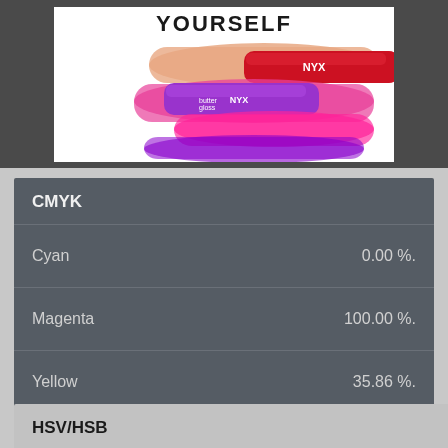[Figure (photo): NYX lip gloss products stacked with colorful lip swatches (pink, red, peach, purple) and text YOURSELF at top]
CMYK
|  |  |
| --- | --- |
| Cyan | 0.00 %. |
| Magenta | 100.00 %. |
| Yellow | 35.86 %. |
| Key | 43.14 %. |
CLOSE
HSV/HSB